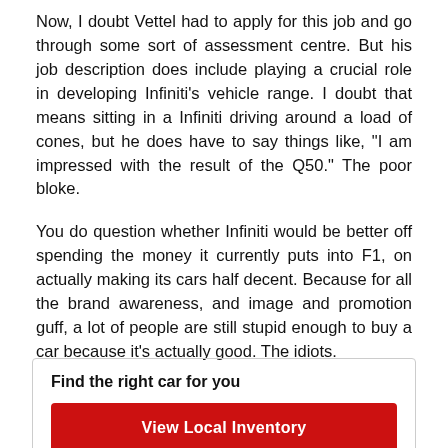Now, I doubt Vettel had to apply for this job and go through some sort of assessment centre. But his job description does include playing a crucial role in developing Infiniti's vehicle range. I doubt that means sitting in a Infiniti driving around a load of cones, but he does have to say things like, "I am impressed with the result of the Q50." The poor bloke.
You do question whether Infiniti would be better off spending the money it currently puts into F1, on actually making its cars half decent. Because for all the brand awareness, and image and promotion guff, a lot of people are still stupid enough to buy a car because it's actually good. The idiots.
Find the right car for you
View Local Inventory